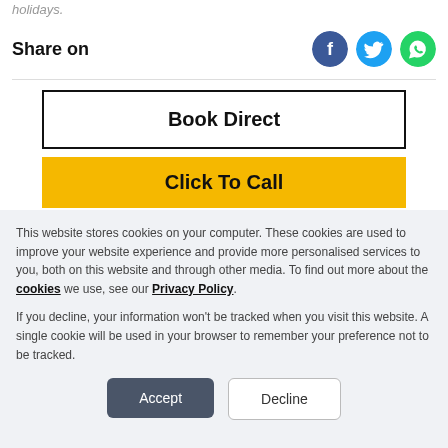holidays.
Share on
[Figure (illustration): Social media share icons: Facebook (dark blue circle), Twitter (light blue circle), WhatsApp (green circle)]
Book Direct
Click To Call
This website stores cookies on your computer. These cookies are used to improve your website experience and provide more personalised services to you, both on this website and through other media. To find out more about the cookies we use, see our Privacy Policy.
If you decline, your information won't be tracked when you visit this website. A single cookie will be used in your browser to remember your preference not to be tracked.
Accept
Decline